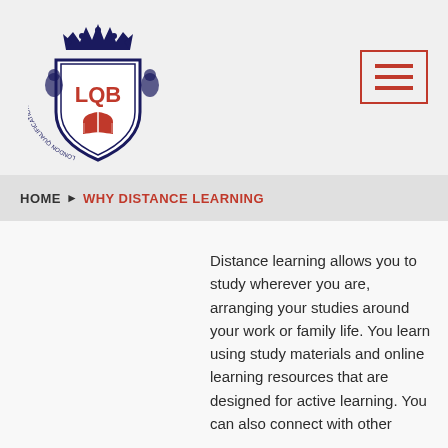[Figure (logo): London Qualifications Board (LQB) crest/shield logo with crown, lions, and open book, dark navy and red colors, circular text reading LONDON QUALIFICATIONS BOARD]
[Figure (other): Hamburger menu button with red border and three red horizontal lines]
HOME ▶ WHY DISTANCE LEARNING
Distance learning allows you to study wherever you are, arranging your studies around your work or family life. You learn using study materials and online learning resources that are designed for active learning. You can also connect with other